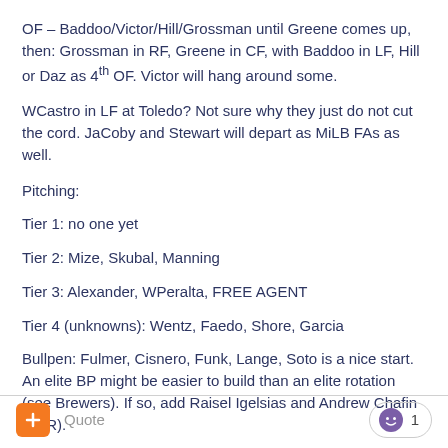OF – Baddoo/Victor/Hill/Grossman until Greene comes up, then: Grossman in RF, Greene in CF, with Baddoo in LF, Hill or Daz as 4th OF. Victor will hang around some.
WCastro in LF at Toledo? Not sure why they just do not cut the cord. JaCoby and Stewart will depart as MiLB FAs as well.
Pitching:
Tier 1: no one yet
Tier 2: Mize, Skubal, Manning
Tier 3: Alexander, WPeralta, FREE AGENT
Tier 4 (unknowns): Wentz, Faedo, Shore, Garcia
Bullpen: Fulmer, Cisnero, Funk, Lange, Soto is a nice start. An elite BP might be easier to build than an elite rotation (see Brewers). If so, add Raisel Igelsias and Andrew Chafin (LHR).
+ Quote  1